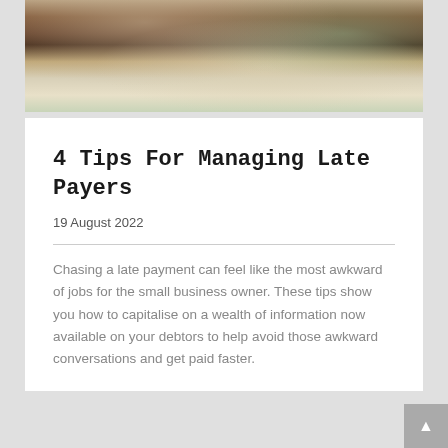[Figure (photo): Photo of a person at a wooden desk with a laptop, papers, pen, and a green mug — a home office or small business setting]
4 Tips For Managing Late Payers
19 August 2022
Chasing a late payment can feel like the most awkward of jobs for the small business owner. These tips show you how to capitalise on a wealth of information now available on your debtors to help avoid those awkward conversations and get paid faster.